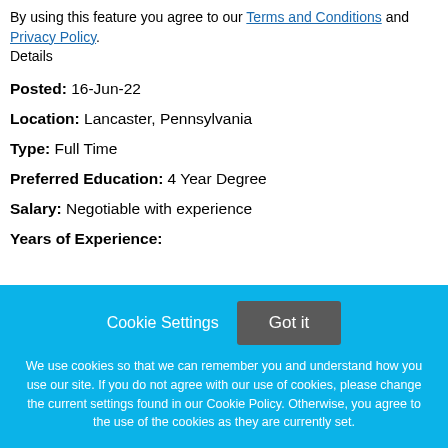By using this feature you agree to our Terms and Conditions and Privacy Policy. Details
Posted: 16-Jun-22
Location: Lancaster, Pennsylvania
Type: Full Time
Preferred Education: 4 Year Degree
Salary: Negotiable with experience
Years of Experience:
Cookie Settings  Got it
We use cookies so that we can remember you and understand how you use our site. If you do not agree with our use of cookies, please change the current settings found in our Cookie Policy. Otherwise, you agree to the use of the cookies as they are currently set.